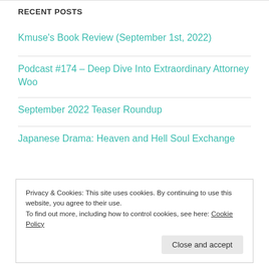RECENT POSTS
Kmuse's Book Review (September 1st, 2022)
Podcast #174 – Deep Dive Into Extraordinary Attorney Woo
September 2022 Teaser Roundup
Japanese Drama: Heaven and Hell Soul Exchange
Privacy & Cookies: This site uses cookies. By continuing to use this website, you agree to their use.
To find out more, including how to control cookies, see here: Cookie Policy